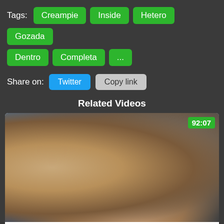Tags: Creampie Inside Hetero Gozada Dentro Completa ...
Share on: Twitter Copy link
Related Videos
[Figure (photo): Video thumbnail showing adult content, duration 92:07]
Clara Morgane dans Max 2 (film complet)